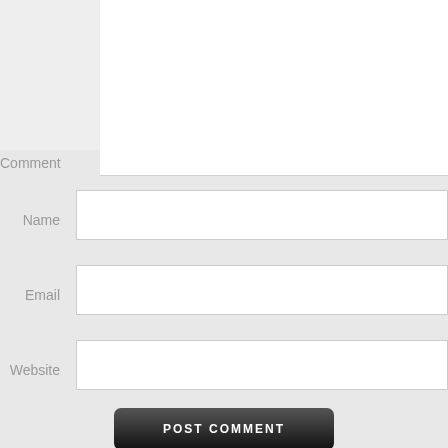Comment
Name
Email
Website
[Figure (screenshot): POST COMMENT button — dark rounded rectangle with white bold uppercase text]
Notify me of new comments via email.
Notify me of new posts via email.